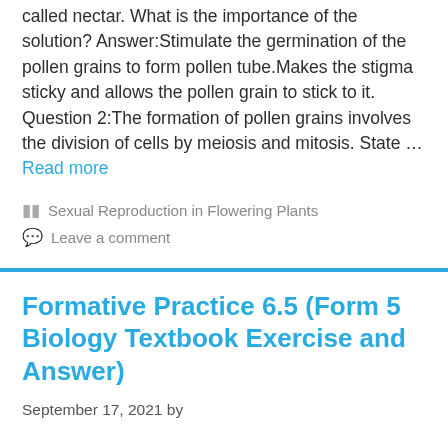called nectar. What is the importance of the solution? Answer:Stimulate the germination of the pollen grains to form pollen tube.Makes the stigma sticky and allows the pollen grain to stick to it. Question 2:The formation of pollen grains involves the division of cells by meiosis and mitosis. State … Read more
Sexual Reproduction in Flowering Plants
Leave a comment
Formative Practice 6.5 (Form 5 Biology Textbook Exercise and Answer)
September 17, 2021 by